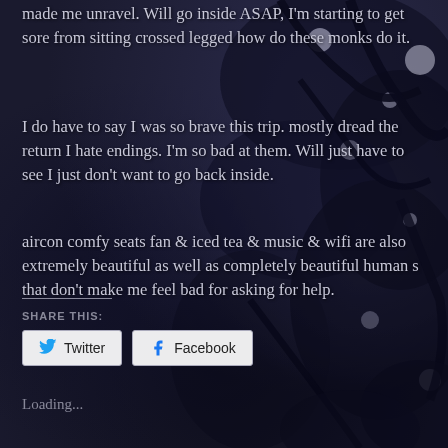made me unravel. Will go inside ASAP, I'm starting to get sore from sitting crossed legged how do these monks do it.
I do have to say I was so brave this trip. mostly dread the return I hate endings. I'm so bad at them. Will just have to see I just don't want to go back inside.
aircon comfy seats fan & iced tea & music & wifi are also extremely beautiful as well as completely beautiful human s that don't make me feel bad for asking for help.
SHARE THIS:
Twitter
Facebook
Loading...